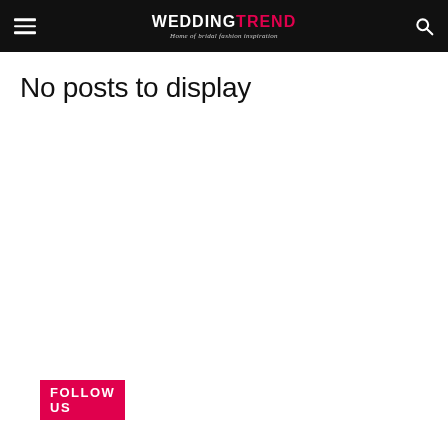WEDDINGTREND — Home of bridal fashion inspiration
No posts to display
FOLLOW US